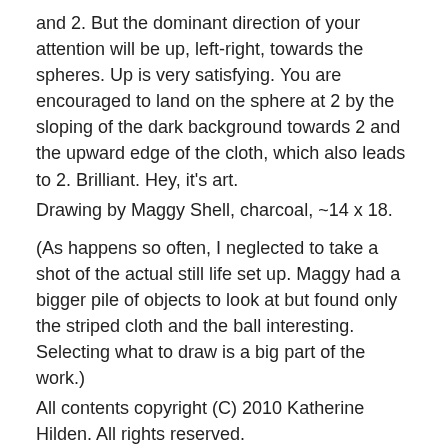and 2. But the dominant direction of your attention will be up, left-right, towards the spheres. Up is very satisfying. You are encouraged to land on the sphere at 2 by the sloping of the dark background towards 2 and the upward edge of the cloth, which also leads to 2. Brilliant. Hey, it's art.
Drawing by Maggy Shell, charcoal, ~14 x 18.
(As happens so often, I neglected to take a shot of the actual still life set up. Maggy had a bigger pile of objects to look at but found only the striped cloth and the ball interesting. Selecting what to draw is a big part of the work.)
All contents copyright (C) 2010 Katherine Hilden. All rights reserved.
http://facefame.wordpress.com